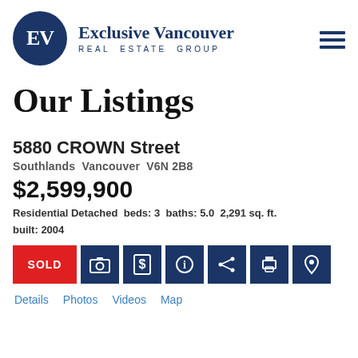[Figure (logo): Exclusive Vancouver Real Estate Group logo with dark blue circle EV monogram and text]
Our Listings
5880 CROWN Street
Southlands  Vancouver  V6N 2B8
$2,599,900
Residential Detached  beds: 3  baths: 5.0  2,291 sq. ft.  built: 2004
SOLD
Details  Photos  Videos  Map